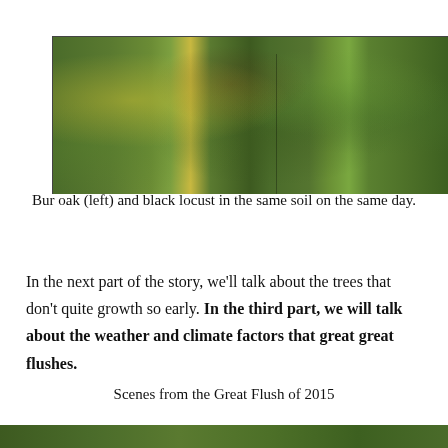[Figure (photo): Two tree foliage photographs side by side: bur oak on the left with large lobed leaves and some yellowing, black locust on the right with fine feathery green leaves, both in the same soil on the same day.]
Bur oak (left) and black locust in the same soil on the same day.
In the next part of the story, we'll talk about the trees that don't quite growth so early. In the third part, we will talk about the weather and climate factors that great great flushes.
Scenes from the Great Flush of 2015
[Figure (photo): Bottom portion of another outdoor nature photograph showing green foliage.]